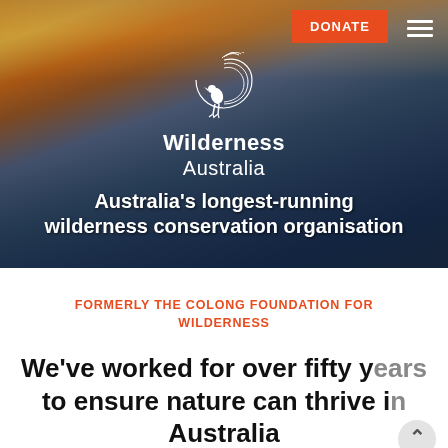[Figure (photo): Hero background photo of Australian mountain wilderness at sunset — dramatic orange and golden sky over rugged blue mountain ranges with rocky foreground and green trees]
Wilderness Australia
Australia's longest-running wilderness conservation organisation
FORMERLY THE COLONG FOUNDATION FOR WILDERNESS
We've worked for over fifty years to ensure nature can thrive in Australia